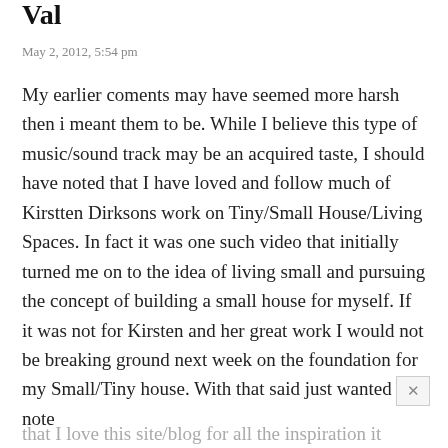Val
May 2, 2012, 5:54 pm
My earlier coments may have seemed more harsh then i meant them to be. While I believe this type of music/sound track may be an acquired taste, I should have noted that I have loved and follow much of Kirstten Dirksons work on Tiny/Small House/Living Spaces. In fact it was one such video that initially turned me on to the idea of living small and pursuing the concept of building a small house for myself. If it was not for Kirsten and her great work I would not be breaking ground next week on the foundation for my Small/Tiny house. With that said just wanted to note that I love this site/blog for all the inspiration it